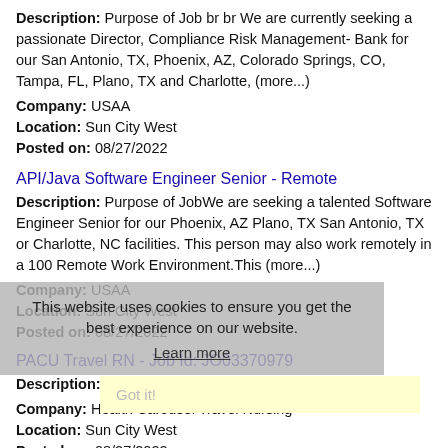Description: Purpose of Job br br We are currently seeking a passionate Director, Compliance Risk Management- Bank for our San Antonio, TX, Phoenix, AZ, Colorado Springs, CO, Tampa, FL, Plano, TX and Charlotte, (more...)
Company: USAA
Location: Sun City West
Posted on: 08/27/2022
API/Java Software Engineer Senior - Remote
Description: Purpose of JobWe are seeking a talented Software Engineer Senior for our Phoenix, AZ Plano, TX San Antonio, TX or Charlotte, NC facilities. This person may also work remotely in a 100 Remote Work Environment.This (more...)
Company: USAA
Location: Sun City West
Posted on: 08/27/2022
PACU Travel RN - Job Id: JO03370979
Description: Next Travel Nursing is seeking a qualified
Company: Health Carousel Travel Nursing
Location: Sun City West
Posted on: 08/27/2022
ER Travel RN - Job Id: JO03370968